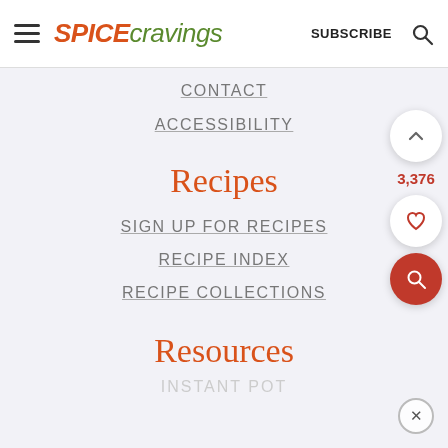SPICE cravings SUBSCRIBE
CONTACT
ACCESSIBILITY
Recipes
SIGN UP FOR RECIPES
RECIPE INDEX
RECIPE COLLECTIONS
Resources
INSTANT POT